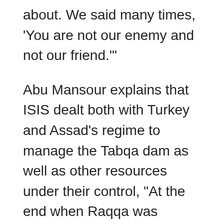about. We said many times, 'You are not our enemy and not our friend.'"
Abu Mansour explains that ISIS dealt both with Turkey and Assad's regime to manage the Tabqa dam as well as other resources under their control, "At the end when Raqqa was encircled, the coalition forces tried to control the rooms for the dam. There was no control. All the gates were closed and the level of water rose. Rumors were that it would burst, but this was not technically true." To fix the issue ISIS sent for Assad's engineers to try to manually open the gates.